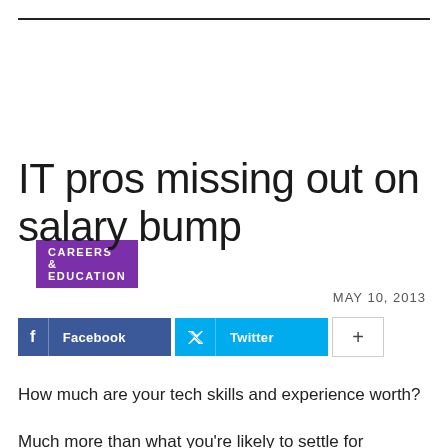CAREERS & EDUCATION
IT pros missing out on salary bump
MAY 10, 2013
[Figure (other): Social sharing buttons: Facebook, Twitter, and a plus/more button]
How much are your tech skills and experience worth?
Much more than what you’re likely to settle for